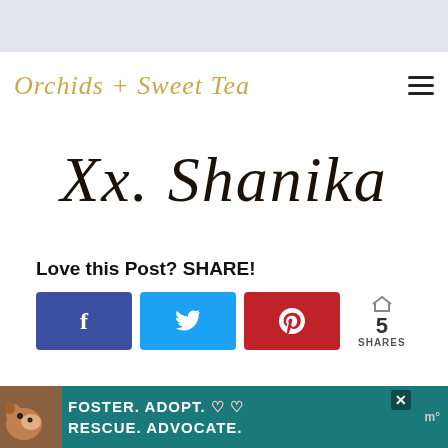[Figure (logo): Orchids + Sweet Tea script logo in gold/tan color with hamburger menu icon on right]
[Figure (illustration): Handwritten cursive signature reading 'Xx. Shanika' in dark ink]
Love this Post? SHARE!
[Figure (infographic): Social share buttons: Facebook (blue), Twitter (cyan), Pinterest (red), with share count showing 5 SHARES]
MORE LIKE THIS
[Figure (photo): Advertisement banner: dog photo on left, teal background with text FOSTER. ADOPT. RESCUE. ADVOCATE. with heart symbols, close button, and Mediavine logo]